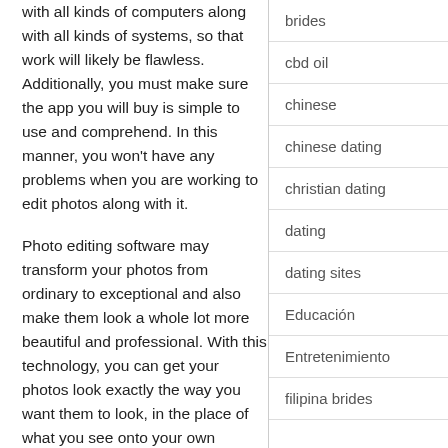with all kinds of computers along with all kinds of systems, so that work will likely be flawless. Additionally, you must make sure the app you will buy is simple to use and comprehend. In this manner, you won't have any problems when you are working to edit photos along with it.
Photo editing software may transform your photos from ordinary to exceptional and also make them look a whole lot more beautiful and professional. With this technology, you can get your photos look exactly the way you want them to look, in the place of what you see onto your own photos.
brides
cbd oil
chinese
chinese dating
christian dating
dating
dating sites
Educación
Entretenimiento
filipina brides